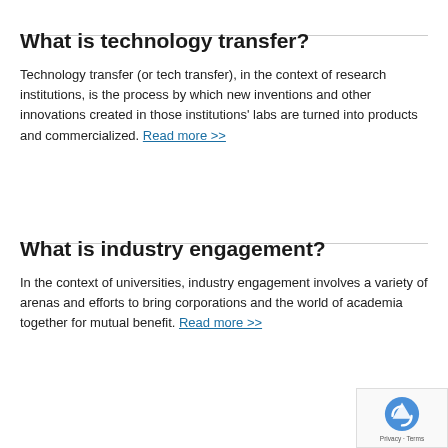What is technology transfer?
Technology transfer (or tech transfer), in the context of research institutions, is the process by which new inventions and other innovations created in those institutions' labs are turned into products and commercialized. Read more >>
What is industry engagement?
In the context of universities, industry engagement involves a variety of arenas and efforts to bring corporations and the world of academia together for mutual benefit. Read more >>